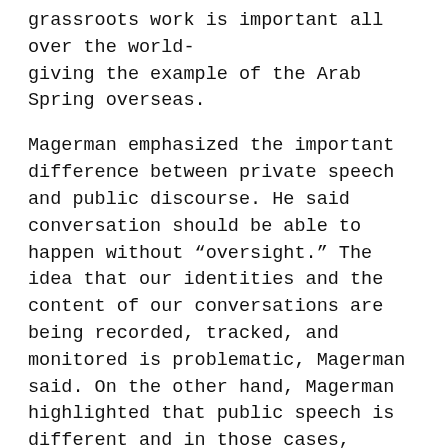grassroots work is important all over the world- giving the example of the Arab Spring overseas.
Magerman emphasized the important difference between private speech and public discourse. He said conversation should be able to happen without "oversight." The idea that our identities and the content of our conversations are being recorded, tracked, and monitored is problematic, Magerman said. On the other hand, Magerman highlighted that public speech is different and in those cases, anonymity is more problematic than it is helpful. For example, the source of information dispersing misinformation about covid-19 to the public should be knowable. The scale and rate of disinformation is amplified by the lack of accountability in public discourse, Magerman said. For the sake of the social contract, where speech has an impact on broader society, we should see it as incumbent on